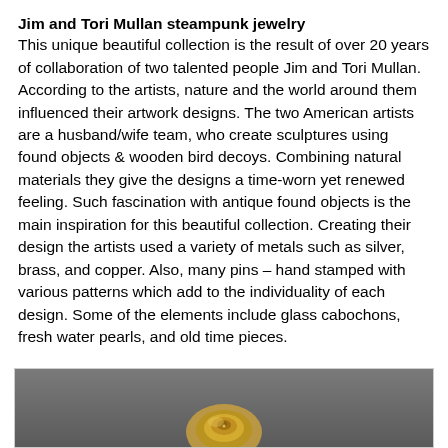Jim and Tori Mullan steampunk jewelry
This unique beautiful collection is the result of over 20 years of collaboration of two talented people Jim and Tori Mullan. According to the artists, nature and the world around them influenced their artwork designs. The two American artists are a husband/wife team, who create sculptures using found objects & wooden bird decoys. Combining natural materials they give the designs a time-worn yet renewed feeling. Such fascination with antique found objects is the main inspiration for this beautiful collection. Creating their design the artists used a variety of metals such as silver, brass, and copper. Also, many pins – hand stamped with various patterns which add to the individuality of each design. Some of the elements include glass cabochons, fresh water pearls, and old time pieces.
[Figure (photo): Partial photo of steampunk jewelry piece (spiral/snail-like golden metallic object) on a dark gray background, cropped at bottom of page]